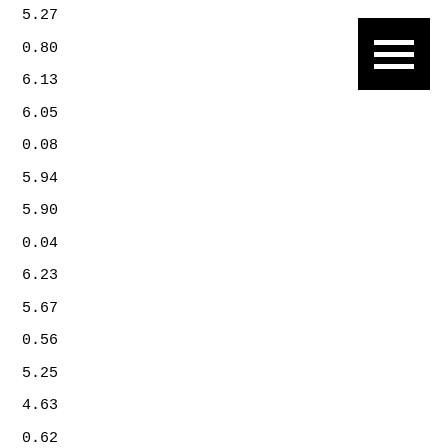5.27
0.80
6.13
6.05
0.08
5.94
5.90
0.04
6.23
5.67
0.56
5.25
4.63
0.62
Campus Support Services
5.04